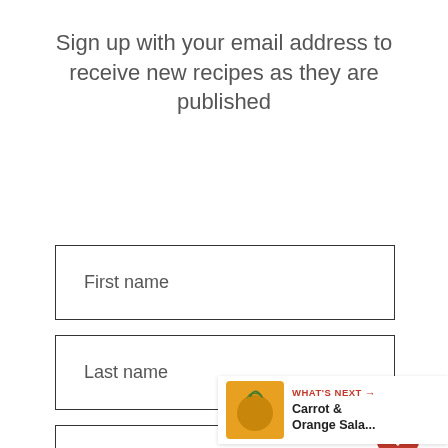Sign up with your email address to receive new recipes as they are published
First name
Last name
Email address
Subscribe
1
WHAT'S NEXT → Carrot & Orange Sala...